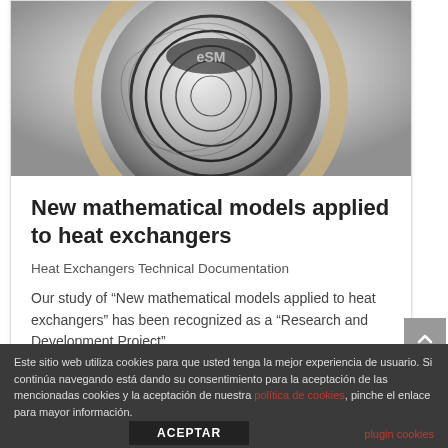[Figure (photo): Close-up photo of a metallic spiral/coil heat exchanger component, showing swirling black and white patterns on a silver metallic surface with a beige/gold ring border]
New mathematical models applied to heat exchangers
Heat Exchangers Technical Documentation
Our study of “New mathematical models applied to heat exchangers” has been recognized as a “Research and Development Project”.
Este sitio web utiliza cookies para que usted tenga la mejor experiencia de usuario. Si continúa navegando está dando su consentimiento para la aceptación de las mencionadas cookies y la aceptación de nuestra política de cookies, pinche el enlace para mayor información.
ACEPTAR